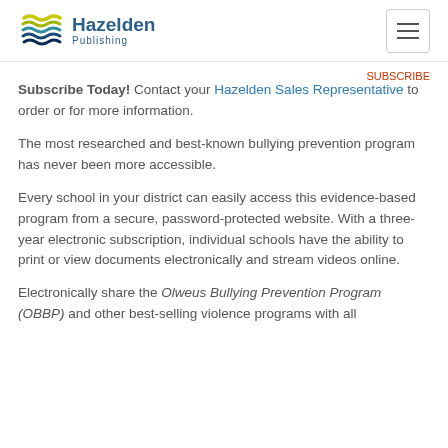Hazelden Publishing [logo] [navigation menu]
Subscribe Today! Contact your Hazelden Sales Representative to order or for more information.
The most researched and best-known bullying prevention program has never been more accessible.
Every school in your district can easily access this evidence-based program from a secure, password-protected website. With a three-year electronic subscription, individual schools have the ability to print or view documents electronically and stream videos online.
Electronically share the Olweus Bullying Prevention Program (OBBP) and other best-selling violence programs with all